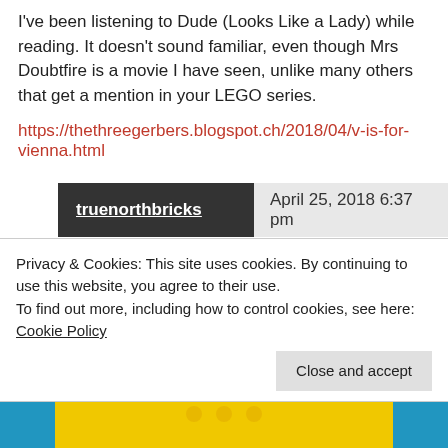I've been listening to Dude (Looks Like a Lady) while reading. It doesn't sound familiar, even though Mrs Doubtfire is a movie I have seen, unlike many others that get a mention in your LEGO series.
https://thethreegerbers.blogspot.ch/2018/04/v-is-for-vienna.html
truenorthbricks    April 25, 2018 6:37 pm
[Figure (illustration): LEGO minifigure avatar with red helmet]
I am starting to think that you an I live in parallel universes. LOL
Privacy & Cookies: This site uses cookies. By continuing to use this website, you agree to their use.
To find out more, including how to control cookies, see here: Cookie Policy
Close and accept